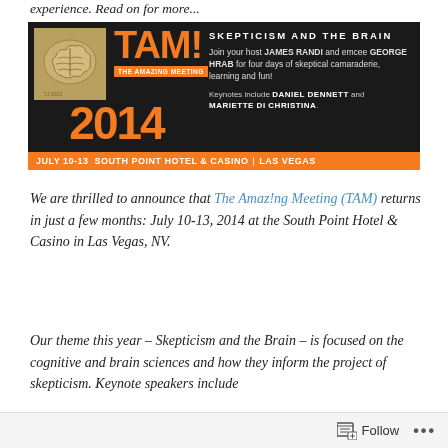experience. Read on for more...
[Figure (infographic): TAM! The Amazing Meeting 2014 banner. Skepticism and the Brain. July 10-13 South Point Hotel & Casino | Las Vegas. Join your host James Randi and emcee George Hrab for four days of skeptical camaraderie, learning and fun! Keynotes include Daniel Dennett and Mariette Di Christina.]
We are thrilled to announce that The Amaz!ng Meeting (TAM) returns in just a few months: July 10-13, 2014 at the South Point Hotel & Casino in Las Vegas, NV.
Our theme this year – Skepticism and the Brain – is focused on the cognitive and brain sciences and how they inform the project of skepticism. Keynote speakers include